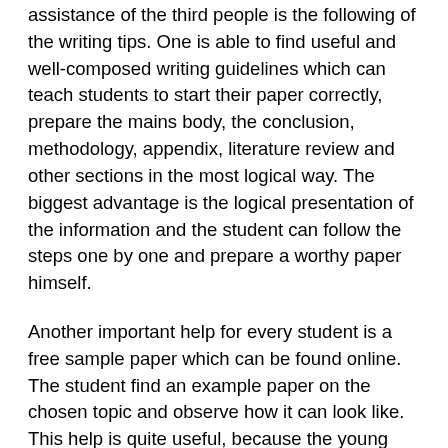assistance of the third people is the following of the writing tips. One is able to find useful and well-composed writing guidelines which can teach students to start their paper correctly, prepare the mains body, the conclusion, methodology, appendix, literature review and other sections in the most logical way. The biggest advantage is the logical presentation of the information and the student can follow the steps one by one and prepare a worthy paper himself.
Another important help for every student is a free sample paper which can be found online. The student find an example paper on the chosen topic and observe how it can look like. This help is quite useful, because the young person is able to see the manner and style of writing, the order of writing, the selection of the methods and their application on practice. Of course, one must not use this information for writing of his own assignment, because it can be called plagiarism. The student should only look